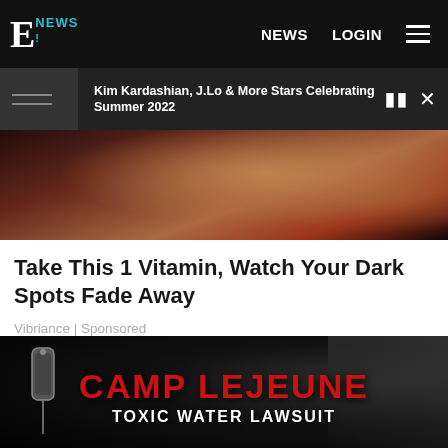E! NEWS | NEWS | LOGIN
Kim Kardashian, J.Lo & More Stars Celebrating Summer 2022
[Figure (photo): Close-up photo of elderly hands with red nails and gold ring, holding colorful floral fabric — advertisement image for Vibriance vitamin product.]
Take This 1 Vitamin, Watch Your Dark Spots Fade Away
Vibriance | Sponsored
[Figure (photo): Dark advertisement image showing military dog tags and a silhouette of a soldier with rifle, with bold red text reading 'CAMP LEJEUNE' and white text 'TOXIC WATER LAWSUIT'.]